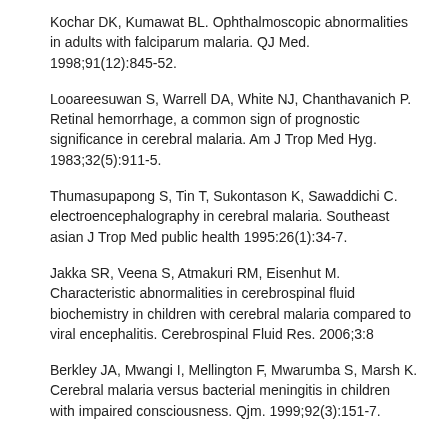Kochar DK, Kumawat BL. Ophthalmoscopic abnormalities in adults with falciparum malaria. QJ Med. 1998;91(12):845-52.
Looareesuwan S, Warrell DA, White NJ, Chanthavanich P. Retinal hemorrhage, a common sign of prognostic significance in cerebral malaria. Am J Trop Med Hyg. 1983;32(5):911-5.
Thumasupapong S, Tin T, Sukontason K, Sawaddichi C. electroencephalography in cerebral malaria. Southeast asian J Trop Med public health 1995:26(1):34-7.
Jakka SR, Veena S, Atmakuri RM, Eisenhut M. Characteristic abnormalities in cerebrospinal fluid biochemistry in children with cerebral malaria compared to viral encephalitis. Cerebrospinal Fluid Res. 2006;3:8
Berkley JA, Mwangi I, Mellington F, Mwarumba S, Marsh K. Cerebral malaria versus bacterial meningitis in children with impaired consciousness. Qjm. 1999;92(3):151-7.